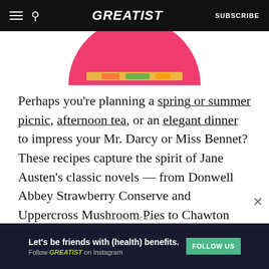GREATIST | SUBSCRIBE
[Figure (photo): Partial view of a pink circular dish/plate with colorful food items, cropped at top of page]
Perhaps you’re planning a spring or summer picnic, afternoon tea, or an elegant dinner to impress your Mr. Darcy or Miss Bennet? These recipes capture the spirit of Jane Austen’s classic novels — from Donwell Abbey Strawberry Conserve and Uppercross Mushroom Pies to Chawton Cottage Garden Risotto and Mr. Woodhouse’s “All-Apple” Tarts. Most of us don’t have the time or money of an Emma or Elizabeth
[Figure (advertisement): Dark advertisement banner reading: Let’s be friends with (health) benefits. Follow GREATIST on Instagram. FOLLOW US button in green.]